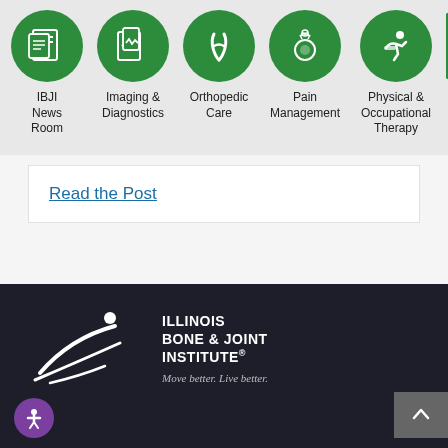[Figure (infographic): Navigation icon bar with green circular icons: IBJI News Room, Imaging & Diagnostics, Orthopedic Care, Pain Management, Physical & Occupational Therapy, and a partially visible icon on the right.]
Read the Post
[Figure (logo): Illinois Bone & Joint Institute logo with white swoosh/figure graphic and text: ILLINOIS BONE & JOINT INSTITUTE® — Move better. Live better.]
Illinois Bone & Joint Institute — Move better. Live better.